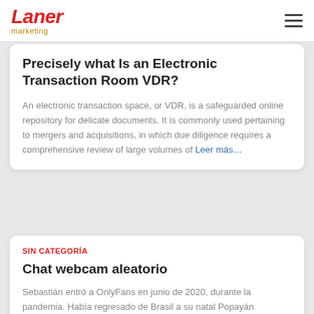[Figure (logo): Laner marketing logo in red italic text with 'marketing' in gold below]
Precisely what Is an Electronic Transaction Room VDR?
An electronic transaction space, or VDR, is a safeguarded online repository for delicate documents. It is commonly used pertaining to mergers and acquisitions, in which due diligence requires a comprehensive review of large volumes of Leer más…
SIN CATEGORÍA
Chat webcam aleatorio
Sebastián entró a OnlyFans en junio de 2020, durante la pandemia. Había regresado de Brasil a su natal Popayán